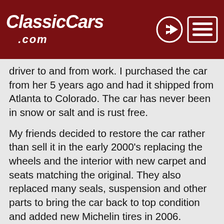ClassicCars.com
driver to and from work. I purchased the car from her 5 years ago and had it shipped from Atlanta to Colorado. The car has never been in snow or salt and is rust free.
My friends decided to restore the car rather than sell it in the early 2000's replacing the wheels and the interior with new carpet and seats matching the original. They also replaced many seals, suspension and other parts to bring the car back to top condition and added new Michelin tires in 2006. The paint and both tops are original and are in very good condition with a few scratches as seen in the photos. Most scratches are minor except where hard top was scratched during storage despite the canvas cover. Beautiful light color stitching can be seen in the close-up photos of the soft top which is in